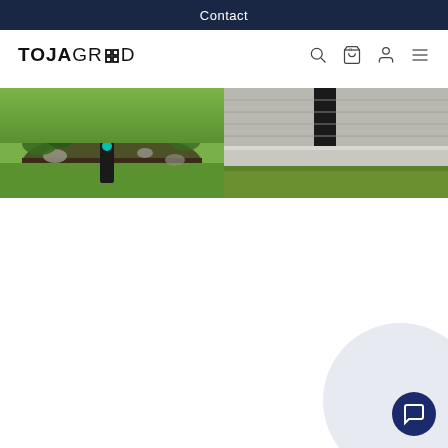Contact
[Figure (logo): TOJAGRID logo with search, cart, account, and menu icons in navigation bar]
[Figure (photo): Two outdoor photos side by side: left shows a black post installed in a garden bed with grass and dirt; right shows a concrete ledge or foundation with green grass]
[Figure (other): Chat support button - circular dark navy button with speech bubble icon, set against a light lavender circular background, positioned bottom right]